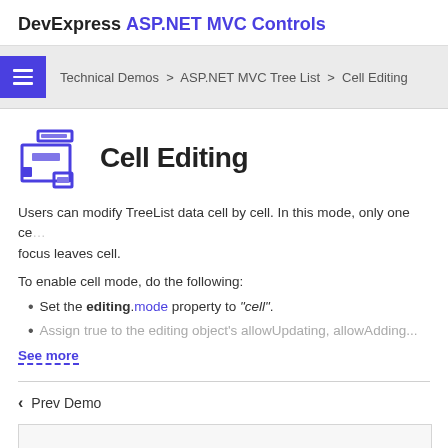DevExpress ASP.NET MVC Controls
Technical Demos > ASP.NET MVC Tree List > Cell Editing
Cell Editing
Users can modify TreeList data cell by cell. In this mode, only one ce... focus leaves cell.
To enable cell mode, do the following:
Set the editing.mode property to "cell".
Assign true to the editing object's allowUpdating, allowAdding...
See more
Prev Demo